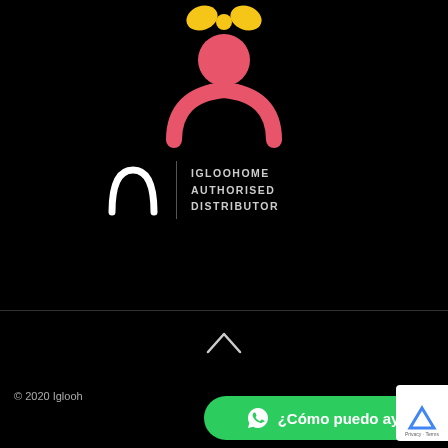[Figure (logo): Person icon with yellow hat/bow and pink/coral body on black background, partially cropped at top]
[Figure (logo): Igloohome Authorised Distributor logo: white arc shape on left, vertical divider, text 'IGLOOHOME AUTHORISED DISTRIBUTOR' on right, on black background]
[Figure (illustration): Caret/chevron up arrow in white on black background]
© 2020 Iglooh
¿Cómo puedo ayudarte?
[Figure (other): Google reCAPTCHA badge, partially visible on right edge, showing Privacy - Terms text]